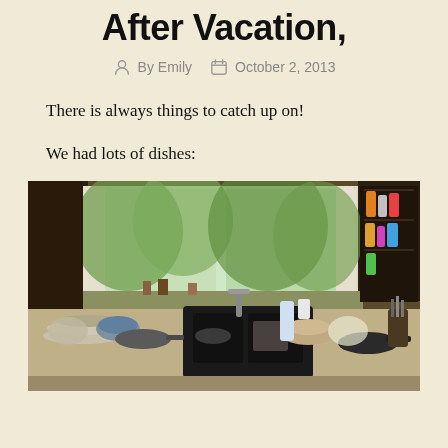After Vacation,
By Emily   October 2, 2013
There is always things to catch up on!
We had lots of dishes:
[Figure (photo): A messy kitchen sink with piles of dirty dishes, pots, and pans on the counter. A window above the sink looks out to green trees. Dark wood cabinets are visible with colorful cups/containers on the right shelf.]